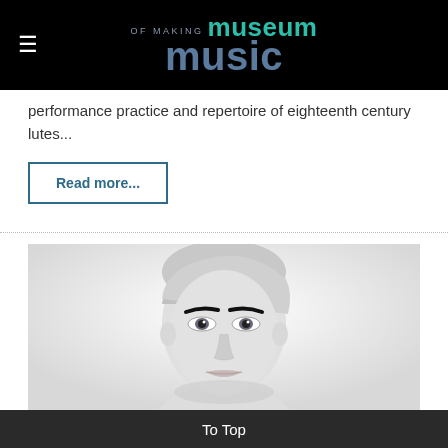Museum of Making Music
performance practice and repertoire of eighteenth century lutes...
Read more...
[Figure (photo): Black and white high-contrast portrait photo of a person with short platinum blonde hair and dark eyebrows, looking directly at camera]
To Top